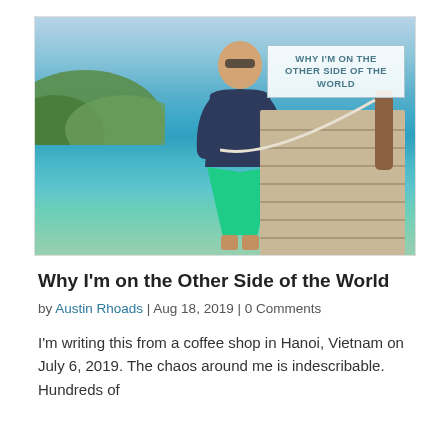[Figure (photo): A man in a navy blue t-shirt and turquoise/green shorts walking on a wooden pier over clear blue-green tropical water, with green hills in the background and a partly cloudy sky. An overlay text box in the upper right reads 'WHY I'M ON THE OTHER SIDE OF THE WORLD'.]
Why I'm on the Other Side of the World
by Austin Rhoads | Aug 18, 2019 | 0 Comments
I'm writing this from a coffee shop in Hanoi, Vietnam on July 6, 2019. The chaos around me is indescribable. Hundreds of